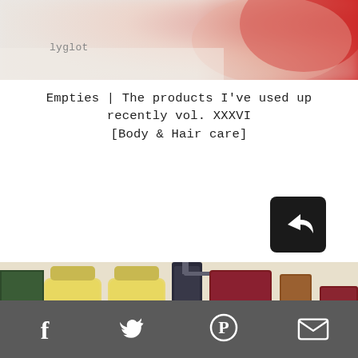[Figure (photo): Blurred top banner image showing a red cosmetic product cap on a light background]
lyglot
Empties | The products I've used up recently vol. XXXVI [Body & Hair care]
[Figure (photo): Share/forward button icon in dark rounded square]
[Figure (photo): Photo of multiple body and hair care product empties including L'Erboristica Mousse Doccia Olio di Argan, L'Erboristica Crema Fluida Corpo al Olio di Mandorle Dolci, a dark bottle of Kerastase, Klorane pouch, and other products arranged in a row]
Facebook  Twitter  Pinterest  Email social share icons